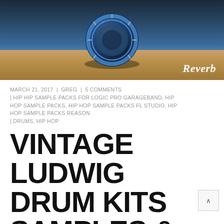[Figure (photo): A vintage Ludwig drum kit photographed on a wooden floor against a dark background, with a blue metallic drum visible. The Reverb logo appears in italic script at the bottom right of the image.]
MARCH 21, 2017 | GREG | 5 COMMENTS | HIP HIP SAMPLE PACKS FOR LOGIC PRO GARAGEBAND, HIP HOP SAMPLE PACKS, HIP HOP SAMPLE PACKS FL STUDIO, HIP HOP SAMPLE PACKS REASON | DRUMS, HIP HOP
VINTAGE LUDWIG DRUM KITS SAMPLES & LOOPS
A collection of Blues and Rock drum loops and single hits recorded on vintage Ludwig drum kits. The recordings offer direct and room microphone perspectives at many different